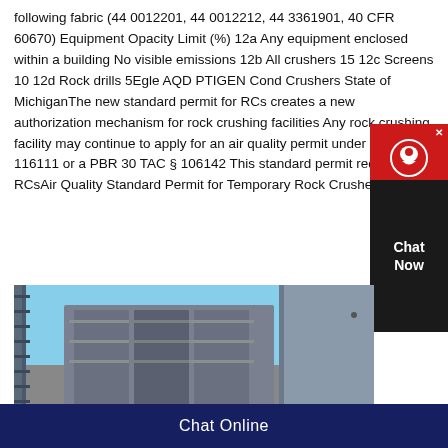following fabric (44 0012201, 44 0012212, 44 3361901, 40 CFR 60670) Equipment Opacity Limit (%) 12a Any equipment enclosed within a building No visible emissions 12b All crushers 15 12c Screens 10 12d Rock drills 5Egle AQD PTIGEN Cond Crushers State of MichiganThe new standard permit for RCs creates a new authorization mechanism for rock crushing facilities Any rock crushing facility may continue to apply for an air quality permit under 30 TAC § 116111 or a PBR 30 TAC § 106142 This standard permit requires RCsAir Quality Standard Permit for Temporary Rock Crushers
[Figure (photo): Photo of industrial rock crushing equipment, showing large metal components, chutes or conveyors, and a blue sky visible in the background.]
Chat Online